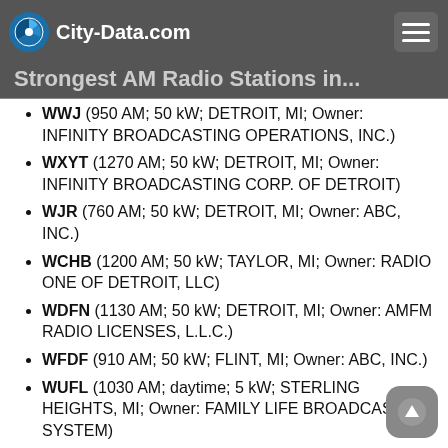City-Data.com
Strongest AM Radio Stations in...
WWJ (950 AM; 50 kW; DETROIT, MI; Owner: INFINITY BROADCASTING OPERATIONS, INC.)
WXYT (1270 AM; 50 kW; DETROIT, MI; Owner: INFINITY BROADCASTING CORP. OF DETROIT)
WJR (760 AM; 50 kW; DETROIT, MI; Owner: ABC, INC.)
WCHB (1200 AM; 50 kW; TAYLOR, MI; Owner: RADIO ONE OF DETROIT, LLC)
WDFN (1130 AM; 50 kW; DETROIT, MI; Owner: AMFM RADIO LICENSES, L.L.C.)
WFDF (910 AM; 50 kW; FLINT, MI; Owner: ABC, INC.)
WUFL (1030 AM; daytime; 5 kW; STERLING HEIGHTS, MI; Owner: FAMILY LIFE BROADCASTING SYSTEM)
WOAP (1080 AM; 50 kW; OWOSSO, MI)
WDEO (990 AM; 9 kW; YPSILANTI, MI; Owner: WORD BROADCASTERS, INC.)